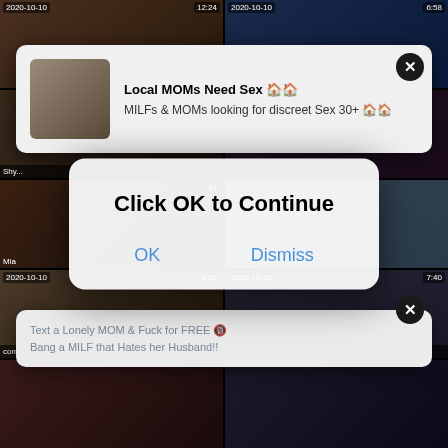[Figure (screenshot): Video thumbnail grid with adult content, showing multiple video thumbnails with timestamps]
Local MOMs Need Sex
MILFs & MOMs looking for discreet Sex 30+
Text a Lonely MOM & Fuck for FREE
Bang a MILF that Hates her Husband!!
Click OK to Continue
OK
Dismiss
2020-10-10
12:24
2020-10-10
6:58
2020-10-10
8:00
comrade's daughter orgasm The Hot
2020-10-10
7:40
Young Anal Tryouts - Dude turns tight